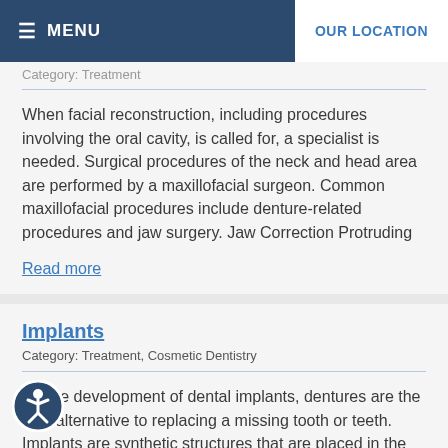MENU | OUR LOCATION
Category: Treatment
When facial reconstruction, including procedures involving the oral cavity, is called for, a specialist is needed. Surgical procedures of the neck and head area are performed by a maxillofacial surgeon. Common maxillofacial procedures include denture-related procedures and jaw surgery. Jaw Correction Protruding
Read more
Implants
Category: Treatment, Cosmetic Dentistry
Before development of dental implants, dentures are the only alternative to replacing a missing tooth or teeth. Implants are synthetic structures that are placed in the area of the tooth normally